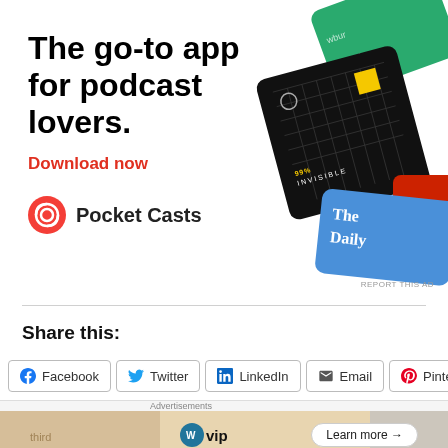[Figure (advertisement): Pocket Casts podcast app advertisement showing headline 'The go-to app for podcast lovers.' with a Download now link and podcast cover art cards including 99% Invisible and The Daily, with Pocket Casts logo]
Share this:
[Figure (infographic): Social share buttons row: Facebook, Twitter, LinkedIn, Email, Pinterest with close X button]
[Figure (advertisement): Bottom ad banner: WordPress VIP advertisement with Learn more button, background shows social media related imagery]